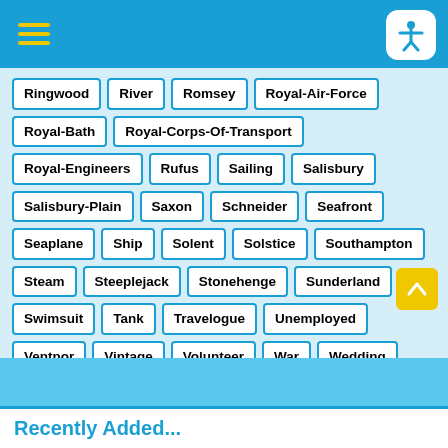Navigation header with hamburger menu and accessibility icon
Ringwood
River
Romsey
Royal-Air-Force
Royal-Bath
Royal-Corps-Of-Transport
Royal-Engineers
Rufus
Sailing
Salisbury
Salisbury-Plain
Saxon
Schneider
Seafront
Seaplane
Ship
Solent
Solstice
Southampton
Steam
Steeplejack
Stonehenge
Sunderland
Swimsuit
Tank
Travelogue
Unemployed
Ventnor
Vintage
Volunteer
War
Wedding
Wessex
Wiltshire
Winchester
Yacht
Recently Added...